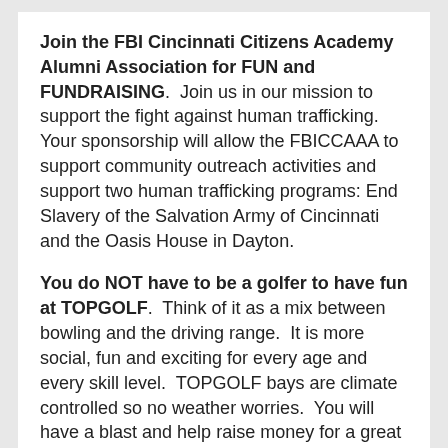Join the FBI Cincinnati Citizens Academy Alumni Association for FUN and FUNDRAISING. Join us in our mission to support the fight against human trafficking. Your sponsorship will allow the FBICCAAA to support community outreach activities and support two human trafficking programs: End Slavery of the Salvation Army of Cincinnati and the Oasis House in Dayton.
You do NOT have to be a golfer to have fun at TOPGOLF. Think of it as a mix between bowling and the driving range. It is more social, fun and exciting for every age and every skill level. TOPGOLF bays are climate controlled so no weather worries. You will have a blast and help raise money for a great cause.
Player Ticket - $75.00 Player tickets include 3 hours of TOPGOLF play, food with unlimited soft drinks, sponsor gift bag, silent auction and raffle. Cash bar and beverages also available...